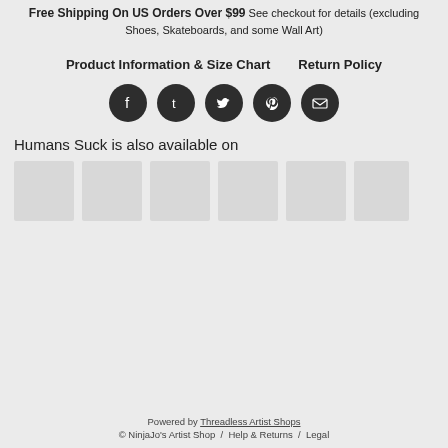Free Shipping On US Orders Over $99 See checkout for details (excluding Shoes, Skateboards, and some Wall Art)
Product Information & Size Chart   Return Policy
[Figure (infographic): Row of 5 circular dark social media share icons: Facebook, Tumblr, Twitter, Pinterest, Email]
Humans Suck is also available on
[Figure (infographic): Row of 6 light gray product thumbnail placeholder boxes]
Powered by Threadless Artist Shops
© NinjaJo's Artist Shop / Help & Returns / Legal